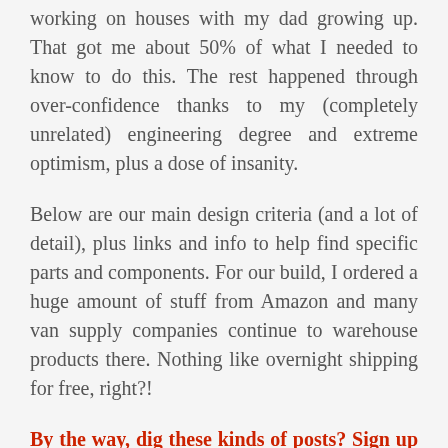working on houses with my dad growing up. That got me about 50% of what I needed to know to do this. The rest happened through over-confidence thanks to my (completely unrelated) engineering degree and extreme optimism, plus a dose of insanity.
Below are our main design criteria (and a lot of detail), plus links and info to help find specific parts and components. For our build, I ordered a huge amount of stuff from Amazon and many van supply companies continue to warehouse products there. Nothing like overnight shipping for free, right?!
By the way, dig these kinds of posts? Sign up for the free Traipsing About newsletter to